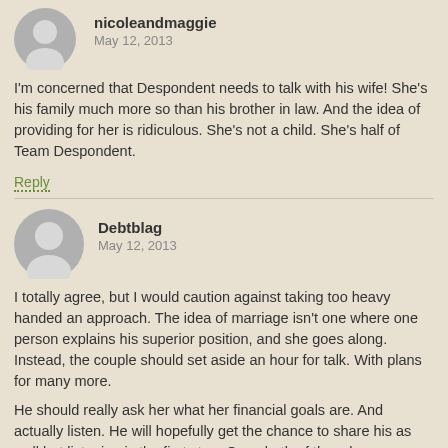[Figure (illustration): Gray circular avatar icon for user nicoleandmaggie]
nicoleandmaggie
May 12, 2013
I'm concerned that Despondent needs to talk with his wife! She's his family much more so than his brother in law. And the idea of providing for her is ridiculous. She's not a child. She's half of Team Despondent.
Reply
[Figure (illustration): Gray circular avatar icon for user Debtblag]
Debtblag
May 12, 2013
I totally agree, but I would caution against taking too heavy handed an approach. The idea of marriage isn't one where one person explains his superior position, and she goes along. Instead, the couple should set aside an hour for talk. With plans for many more.
He should really ask her what her financial goals are. And actually listen. He will hopefully get the chance to share his as well but listening is the first step. Once both of them have explained what your goals are, see how to mesh them. Then, and only then, will he be ready to discuss the means to get there. And get there jointly.